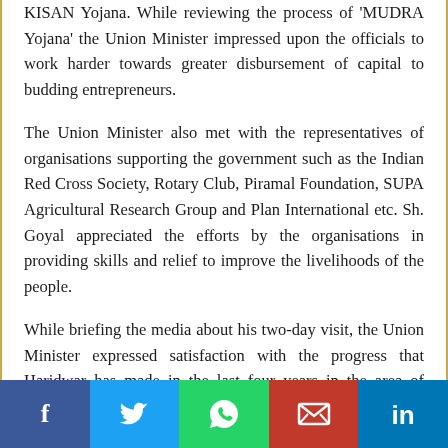KISAN Yojana. While reviewing the process of 'MUDRA Yojana' the Union Minister impressed upon the officials to work harder towards greater disbursement of capital to budding entrepreneurs.
The Union Minister also met with the representatives of organisations supporting the government such as the Indian Red Cross Society, Rotary Club, Piramal Foundation, SUPA Agricultural Research Group and Plan International etc. Sh. Goyal appreciated the efforts by the organisations in providing skills and relief to improve the livelihoods of the people.
While briefing the media about his two-day visit, the Union Minister expressed satisfaction with the progress that Haridwar has made in the last four years in the area of education, financial inclusion and agriculture, and he added that nutrition remains an area where improvement is needed.
[Figure (infographic): Social media share bar with Facebook, Twitter, WhatsApp, Email, and LinkedIn icons]